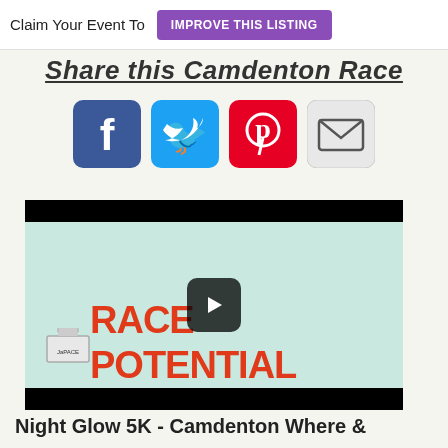Claim Your Event To IMPROVE THIS LISTING
Share this Camdenton Race
[Figure (infographic): Social sharing icons: Facebook, Twitter, Pinterest, Email]
[Figure (screenshot): Video thumbnail showing Race Potential logo with play button overlay]
Night Glow 5K - Camdenton Where &